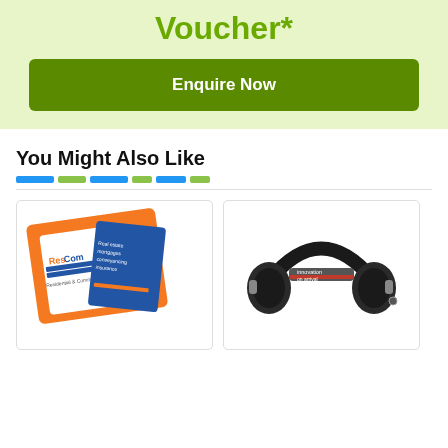Voucher*
Enquire Now
You Might Also Like
[Figure (logo): ResCom Residential & Commercial business cards with orange border]
[Figure (photo): Black and red over-ear headphones with 'innovation on arrival' branding]